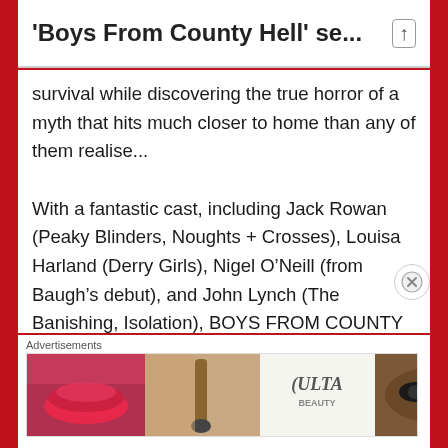'Boys From County Hell' se...
survival while discovering the true horror of a myth that hits much closer to home than any of them realise...
With a fantastic cast, including Jack Rowan (Peaky Blinders, Noughts + Crosses), Louisa Harland (Derry Girls), Nigel O’Neill (from Baugh’s debut), and John Lynch (The Banishing, Isolation), BOYS FROM COUNTY HELL is rich in celtic atmosphere, drenched in gore, wildly funny and splendidly scary – the very definition of a crowd
Advertisements
[Figure (photo): ULTA beauty advertisement banner showing makeup images — red lips, makeup brush, eyes with dramatic makeup, ULTA logo in center, and SHOP NOW text on right]